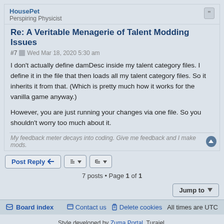HousePet
Perspiring Physicist
Re: A Veritable Menagerie of Talent Modding Issues
#7  Wed Mar 18, 2020 5:30 am
I don't actually define damDesc inside my talent category files. I define it in the file that then loads all my talent category files. So it inherits it from that. (Which is pretty much how it works for the vanilla game anyway.)
However, you are just running your changes via one file. So you shouldn't worry too much about it.
My feedback meter decays into coding. Give me feedback and I make mods.
Post Reply
7 posts • Page 1 of 1
Jump to
Board index   Contact us   Delete cookies   All times are UTC
Style developed by Zuma Portal, Turaiel,
Powered by phpBB® Forum Software © phpBB Limited
Privacy | Terms